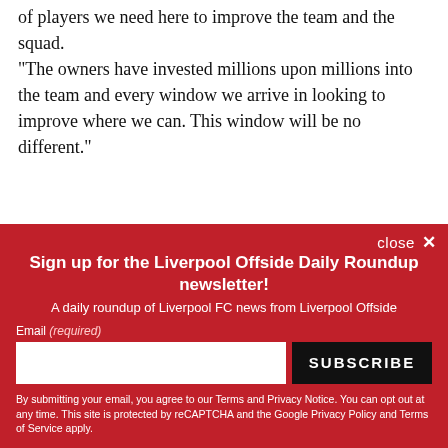of players we need here to improve the team and the squad.
"The owners have invested millions upon millions into the team and every window we arrive in looking to improve where we can. This window will be no different."
[Figure (other): Newsletter signup box with red background. Title: 'Sign up for the Liverpool Offside Daily Roundup newsletter!'. Subtitle: 'A daily roundup of Liverpool FC news from Liverpool Offside'. Email input field and SUBSCRIBE button. Legal text about terms and privacy.]